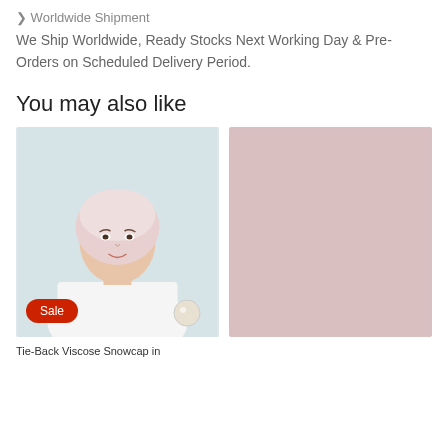Worldwide Shipment
We Ship Worldwide, Ready Stocks Next Working Day & Pre-Orders on Scheduled Delivery Period.
You may also like
[Figure (photo): Photo of a woman wearing a light pink hijab snowcap with a white turtleneck, with a Sale badge and pearl brooch]
[Figure (photo): Plain solid pink/mauve colored background product image]
Tie-Back Viscose Snowcap in